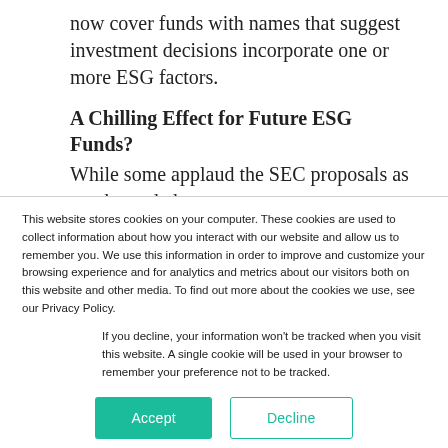now cover funds with names that suggest investment decisions incorporate one or more ESG factors.
A Chilling Effect for Future ESG Funds?
While some applaud the SEC proposals as much-needed transparency measures to help retail investors understand...
This website stores cookies on your computer. These cookies are used to collect information about how you interact with our website and allow us to remember you. We use this information in order to improve and customize your browsing experience and for analytics and metrics about our visitors both on this website and other media. To find out more about the cookies we use, see our Privacy Policy.
If you decline, your information won't be tracked when you visit this website. A single cookie will be used in your browser to remember your preference not to be tracked.